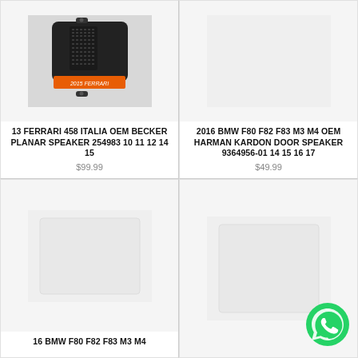[Figure (photo): Photo of a Ferrari 458 Italia OEM Becker Planar speaker, black carbon-fiber textured component with an orange label reading '2015 FERRARI']
13 FERRARI 458 ITALIA OEM BECKER PLANAR SPEAKER 254983 10 11 12 14 15
$99.99
[Figure (photo): Product image placeholder for 2016 BMW F80 F82 F83 M3 M4 OEM Harman Kardon door speaker]
2016 BMW F80 F82 F83 M3 M4 OEM HARMAN KARDON DOOR SPEAKER 9364956-01 14 15 16 17
$49.99
[Figure (photo): Product image placeholder for 16 BMW F80 F82 F83 M3 M4 item]
16 BMW F80 F82 F83 M3 M4
[Figure (photo): Product image placeholder for fourth item, with WhatsApp contact button overlay]
[Figure (logo): WhatsApp green circle logo button in bottom-right corner]